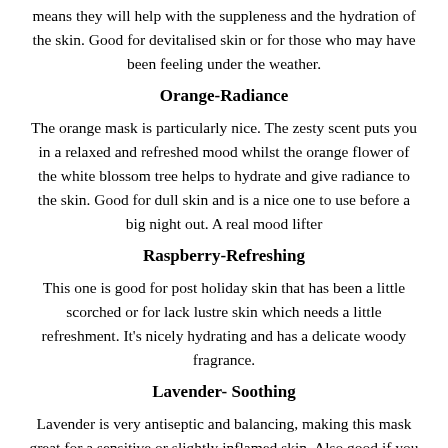means they will help with the suppleness and the hydration of the skin. Good for devitalised skin or for those who may have been feeling under the weather.
Orange-Radiance
The orange mask is particularly nice. The zesty scent puts you in a relaxed and refreshed mood whilst the orange flower of the white blossom tree helps to hydrate and give radiance to the skin. Good for dull skin and is a nice one to use before a big night out. A real mood lifter
Raspberry-Refreshing
This one is good for post holiday skin that has been a little scorched or for lack lustre skin which needs a little refreshment. It's nicely hydrating and has a delicate woody fragrance.
Lavender- Soothing
Lavender is very antiseptic and balancing, making this mask great for a sensitive or slightly inflamed skin. Also good if you suffer